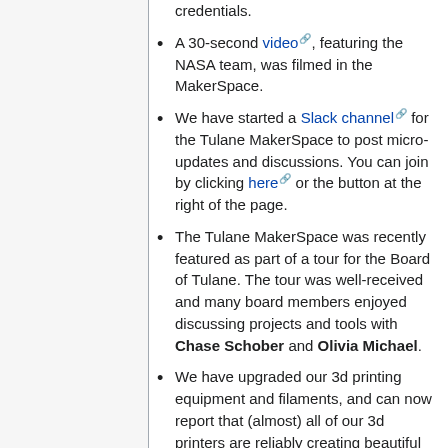credentials.
A 30-second video, featuring the NASA team, was filmed in the MakerSpace.
We have started a Slack channel for the Tulane MakerSpace to post micro-updates and discussions. You can join by clicking here or the button at the right of the page.
The Tulane MakerSpace was recently featured as part of a tour for the Board of Tulane. The tour was well-received and many board members enjoyed discussing projects and tools with Chase Schober and Olivia Michael.
We have upgraded our 3d printing equipment and filaments, and can now report that (almost) all of our 3d printers are reliably creating beautiful